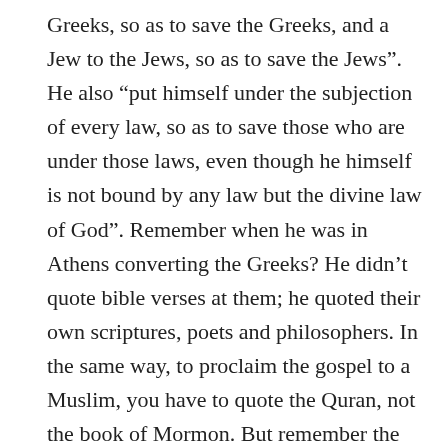Greeks, so as to save the Greeks, and a Jew to the Jews, so as to save the Jews". He also “put himself under the subjection of every law, so as to save those who are under those laws, even though he himself is not bound by any law but the divine law of God". Remember when he was in Athens converting the Greeks? He didn’t quote bible verses at them; he quoted their own scriptures, poets and philosophers. In the same way, to proclaim the gospel to a Muslim, you have to quote the Quran, not the book of Mormon. But remember the gospel promise is pluralistic: It can be found everywhere once you have eyes to see it, and once you see it in Islam, you can lead Muslims to it using their own faith. Once you see it in Buddhism, you can lead Buddhists to it using their own faith. Besides, people are more likely to